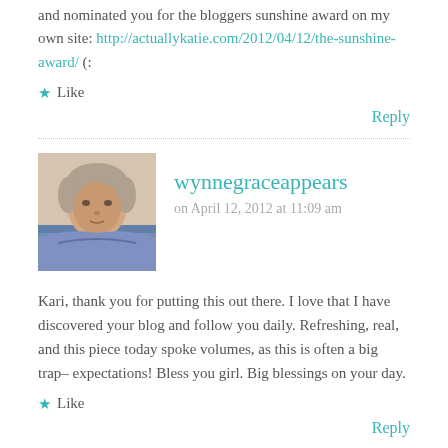and nominated you for the bloggers sunshine award on my own site: http://actuallykatie.com/2012/04/12/the-sunshine-award/ (:
★ Like
Reply
wynnegraceappears
on April 12, 2012 at 11:09 am
Kari, thank you for putting this out there. I love that I have discovered your blog and follow you daily. Refreshing, real, and this piece today spoke volumes, as this is often a big trap– expectations! Bless you girl. Big blessings on your day.
★ Like
Reply